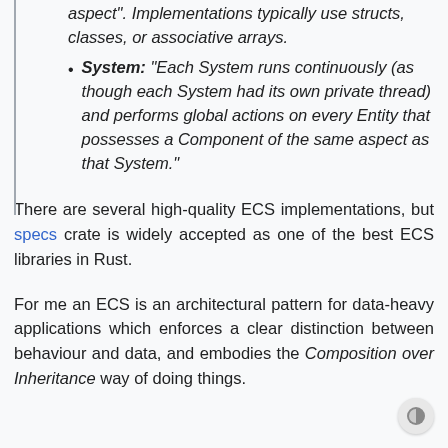aspect". Implementations typically use structs, classes, or associative arrays.
System: "Each System runs continuously (as though each System had its own private thread) and performs global actions on every Entity that possesses a Component of the same aspect as that System."
There are several high-quality ECS implementations, but specs crate is widely accepted as one of the best ECS libraries in Rust.
For me an ECS is an architectural pattern for data-heavy applications which enforces a clear distinction between behaviour and data, and embodies the Composition over Inheritance way of doing things.